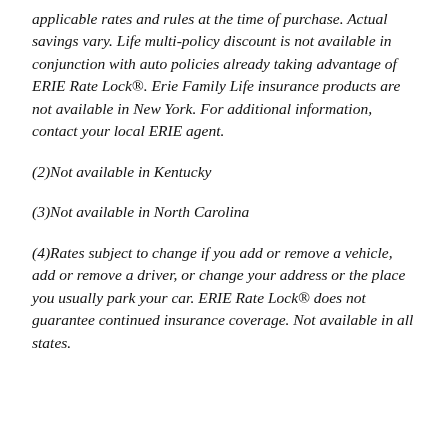applicable rates and rules at the time of purchase. Actual savings vary. Life multi-policy discount is not available in conjunction with auto policies already taking advantage of ERIE Rate Lock®. Erie Family Life insurance products are not available in New York. For additional information, contact your local ERIE agent.
(2)Not available in Kentucky
(3)Not available in North Carolina
(4)Rates subject to change if you add or remove a vehicle, add or remove a driver, or change your address or the place you usually park your car. ERIE Rate Lock® does not guarantee continued insurance coverage. Not available in all states.